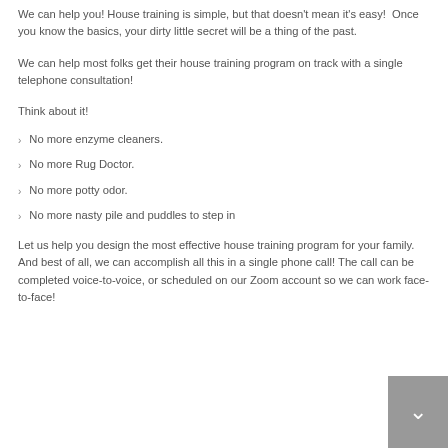We can help you! House training is simple, but that doesn't mean it's easy!  Once you know the basics, your dirty little secret will be a thing of the past.
We can help most folks get their house training program on track with a single telephone consultation!
Think about it!
No more enzyme cleaners.
No more Rug Doctor.
No more potty odor.
No more nasty pile and puddles to step in
Let us help you design the most effective house training program for your family. And best of all, we can accomplish all this in a single phone call! The call can be completed voice-to-voice, or scheduled on our Zoom account so we can work face-to-face!